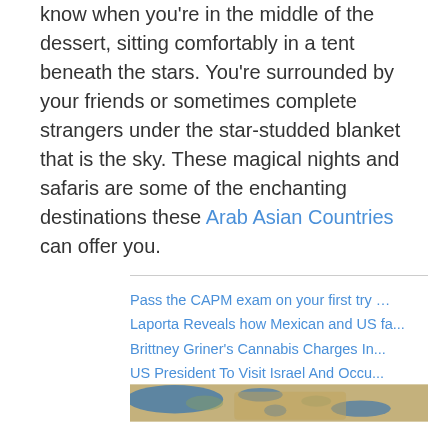know when you're in the middle of the dessert, sitting comfortably in a tent beneath the stars. You're surrounded by your friends or sometimes complete strangers under the star-studded blanket that is the sky. These magical nights and safaris are some of the enchanting destinations these Arab Asian Countries can offer you.
Pass the CAPM exam on your first try …
Laporta Reveals how Mexican and US fa...
Brittney Griner's Cannabis Charges In...
US President To Visit Israel And Occu...
[Figure (map): Satellite map image showing the Arab/Middle East region with blue water bodies and brown/green landmasses.]